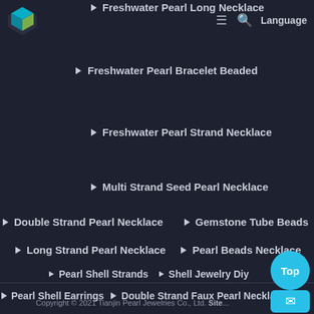[Figure (logo): Cube/box logo with teal and green colors, top-left corner]
Freshwater Pearl Long Necklace
Freshwater Pearl Bracelet Beaded
Freshwater Pearl Strand Necklace
Multi Strand Seed Pearl Necklace
Double Strand Pearl Necklace
Gemstone Tube Beads
Long Strand Pearl Necklace
Pearl Beads Necklace
Pearl Shell Strands
Shell Jewelry Diy
Pearl Shell Earrings
Double Strand Faux Pearl Necklace
Copyright © 2021 Tianjin Pearl Jewelries Co., Ltd. Sitem...